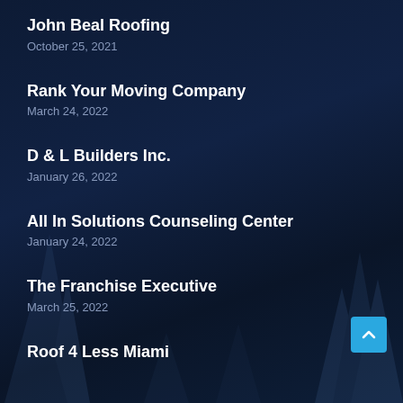John Beal Roofing
October 25, 2021
Rank Your Moving Company
March 24, 2022
D & L Builders Inc.
January 26, 2022
All In Solutions Counseling Center
January 24, 2022
The Franchise Executive
March 25, 2022
Roof 4 Less Miami